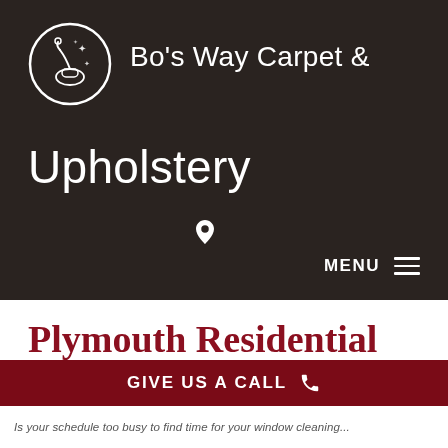[Figure (logo): Bo's Way Carpet & Upholstery logo: a vacuum cleaner with sparkles inside a white circle, on a dark background]
Bo's Way Carpet & Upholstery
📍 (location pin icon)
MENU ☰
Plymouth Residential Window Washers
GIVE US A CALL 📞
Is your schedule too busy to find time for your window cleaning...